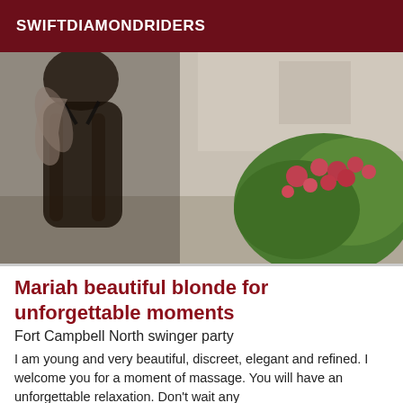SWIFTDIAMONDRIDERS
[Figure (photo): Photo of a woman in a sheer black outfit outdoors with flowering bushes in the background]
Mariah beautiful blonde for unforgettable moments
Fort Campbell North swinger party
I am young and very beautiful, discreet, elegant and refined. I welcome you for a moment of massage. You will have an unforgettable relaxation. Don't wait any